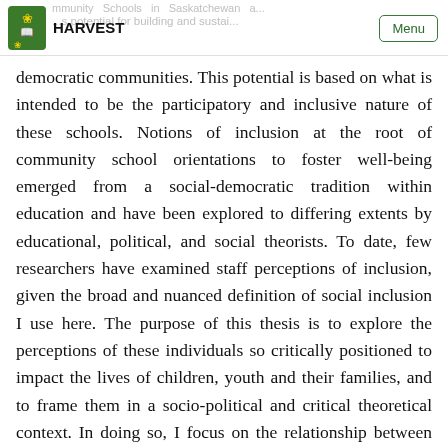HARVEST
democratic communities. This potential is based on what is intended to be the participatory and inclusive nature of these schools. Notions of inclusion at the root of community school orientations to foster well-being emerged from a social-democratic tradition within education and have been explored to differing extents by educational, political, and social theorists. To date, few researchers have examined staff perceptions of inclusion, given the broad and nuanced definition of social inclusion I use here. The purpose of this thesis is to explore the perceptions of these individuals so critically positioned to impact the lives of children, youth and their families, and to frame them in a socio-political and critical theoretical context. In doing so, I focus on the relationship between community